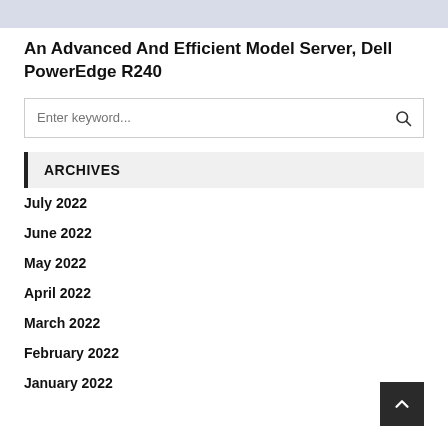[Figure (photo): Gray/light blue image banner at top of page]
An Advanced And Efficient Model Server, Dell PowerEdge R240
[Figure (screenshot): Search box with placeholder text 'Enter keyword...' and a search icon on the right]
ARCHIVES
July 2022
June 2022
May 2022
April 2022
March 2022
February 2022
January 2022